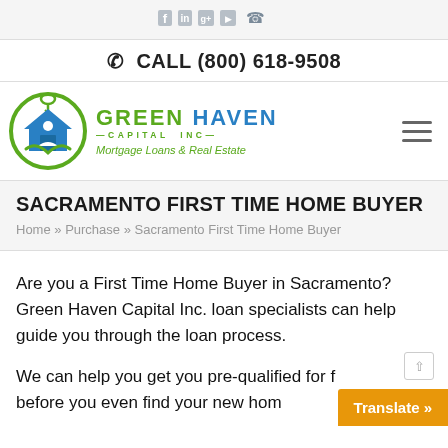[Figure (logo): Green Haven Capital Inc logo with social media icons bar at top]
✆  CALL (800) 618-9508
[Figure (logo): Green Haven Capital Inc logo - house with person icon in green circle, company name in green and blue, Mortgage Loans & Real Estate subtitle]
SACRAMENTO FIRST TIME HOME BUYER
Home » Purchase » Sacramento First Time Home Buyer
Are you a First Time Home Buyer in Sacramento? Green Haven Capital Inc. loan specialists can help guide you through the loan process.
We can help you get you pre-qualified for free before you even find your new hom